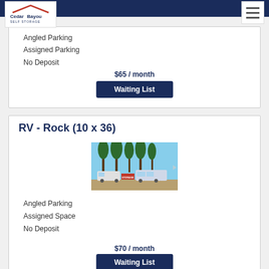[Figure (logo): Cedar Bayou Self Storage logo with red roof graphic]
Angled Parking
Assigned Parking
No Deposit
$65 / month
Waiting List
RV - Rock (10 x 36)
[Figure (photo): Outdoor RV storage lot with palm trees and multiple RVs parked at an angle under blue sky]
Angled Parking
Assigned Space
No Deposit
$70 / month
Waiting List